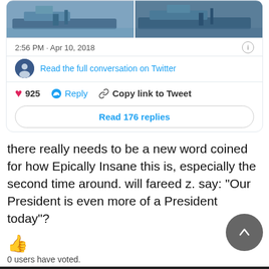[Figure (screenshot): Twitter embed card showing two naval ship photos, timestamp 2:56 PM Apr 10 2018, profile avatar, Read the full conversation on Twitter link, 925 likes, Reply, Copy link to Tweet actions, and Read 176 replies button]
there really needs to be a new word coined for how Epically Insane this is, especially the second time around. will fareed z. say: "Our President is even more of a President today"?
[Figure (other): Thumbs up emoji]
0 users have voted.
Log in or register to post comments